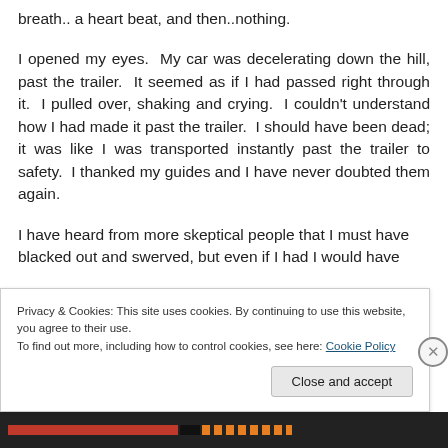breath.. a heart beat, and then..nothing.
I opened my eyes.  My car was decelerating down the hill, past the trailer.  It seemed as if I had passed right through it.  I pulled over, shaking and crying.  I couldn't understand how I had made it past the trailer.  I should have been dead; it was like I was transported instantly past the trailer to safety.  I thanked my guides and I have never doubted them again.
I have heard from more skeptical people that I must have blacked out and swerved, but even if I had I would have
Privacy & Cookies: This site uses cookies. By continuing to use this website, you agree to their use.
To find out more, including how to control cookies, see here: Cookie Policy